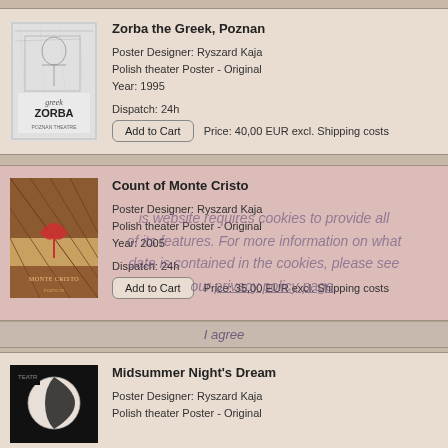[Figure (photo): Zorba the Greek theater poster - black and white sketch style with 'Greek Zorba' text]
Zorba the Greek, Poznan
Poster Designer: Ryszard Kaja
Polish theater Poster - Original
Year: 1995
Dispatch: 24h
Price: 40,00 EUR excl. Shipping costs
[Figure (photo): Count of Monte Cristo theater poster - dark warm tones with bird/wing motif]
Count of Monte Cristo
Poster Designer: Ryszard Kaja
Polish theater Poster - Original
Year: 2005
Dispatch: 24h
Price: 35,00 EUR excl. Shipping costs
This website requires cookies to provide all of its features. For more information on what data is contained in the cookies, please see our privacy policy page.
[Figure (photo): Midsummer Night's Dream theater poster - dark background with moon/sphere]
Midsummer Night's Dream
Poster Designer: Ryszard Kaja
Polish theater Poster - Original